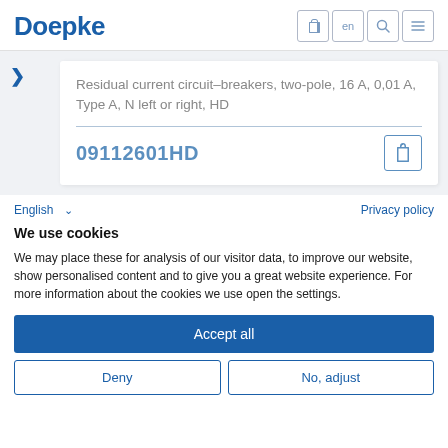Doepke
Residual current circuit–breakers, two-pole, 16 A, 0,01 A, Type A, N left or right, HD
09112601HD
English  Privacy policy
We use cookies
We may place these for analysis of our visitor data, to improve our website, show personalised content and to give you a great website experience. For more information about the cookies we use open the settings.
Accept all
Deny
No, adjust